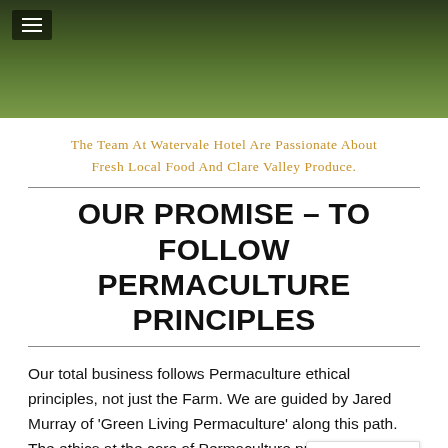[Figure (photo): Hero image of green grass/lawn from ground level with dark overlay, hamburger menu icon in top-left corner]
The Team At Watervale Hotel Are Passionate About Fresh Local Food And Clare Valley Produce.
OUR PROMISE – TO FOLLOW PERMACULTURE PRINCIPLES
Our total business follows Permaculture ethical principles, not just the Farm. We are guided by Jared Murray of 'Green Living Permaculture' along this path. The ethics at the core of Permaculture practice are equally applicable at the Watervale Hotel; that is everything we do: